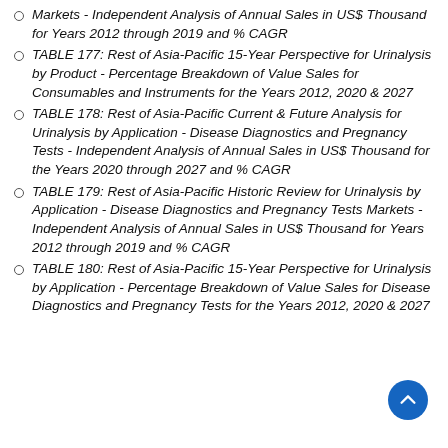Markets - Independent Analysis of Annual Sales in US$ Thousand for Years 2012 through 2019 and % CAGR
TABLE 177: Rest of Asia-Pacific 15-Year Perspective for Urinalysis by Product - Percentage Breakdown of Value Sales for Consumables and Instruments for the Years 2012, 2020 & 2027
TABLE 178: Rest of Asia-Pacific Current & Future Analysis for Urinalysis by Application - Disease Diagnostics and Pregnancy Tests - Independent Analysis of Annual Sales in US$ Thousand for the Years 2020 through 2027 and % CAGR
TABLE 179: Rest of Asia-Pacific Historic Review for Urinalysis by Application - Disease Diagnostics and Pregnancy Tests Markets - Independent Analysis of Annual Sales in US$ Thousand for Years 2012 through 2019 and % CAGR
TABLE 180: Rest of Asia-Pacific 15-Year Perspective for Urinalysis by Application - Percentage Breakdown of Value Sales for Disease Diagnostics and Pregnancy Tests for the Years 2012, 2020 & 2027